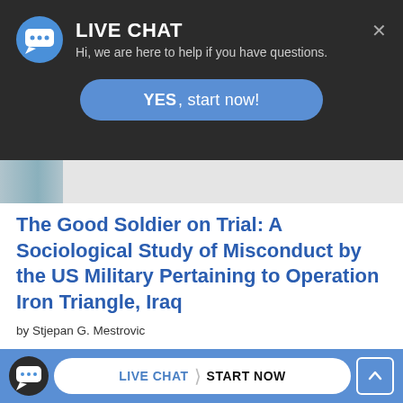[Figure (screenshot): Live chat overlay widget with dark background showing LIVE CHAT title, subtitle 'Hi, we are here to help if you have questions.' and a blue YES start now! button, with an X close button in the top right.]
The Good Soldier on Trial: A Sociological Study of Misconduct by the US Military Pertaining to Operation Iron Triangle, Iraq
by Stjepan G. Mestrovic
[Figure (logo): Stars and Stripes logo]
General reduces 172nd soldiers' jail terms
[Figure (screenshot): Bottom live chat bar with blue background showing chat bubble icon, LIVE CHAT START NOW button, and scroll up arrow button.]